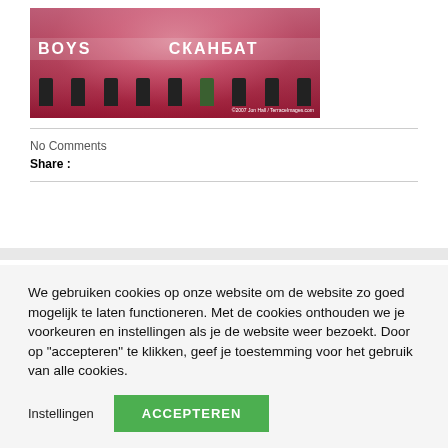[Figure (photo): Football fans with flares and smoke in stadium, banner reading BOYS, security personnel on pitch, pink/red smoke filling the air. Watermark: ©2007 Jon Hall / TerraceImages.com]
No Comments
Share :
We gebruiken cookies op onze website om de website zo goed mogelijk te laten functioneren. Met de cookies onthouden we je voorkeuren en instellingen als je de website weer bezoekt. Door op "accepteren" te klikken, geef je toestemming voor het gebruik van alle cookies.
Instellingen
ACCEPTEREN